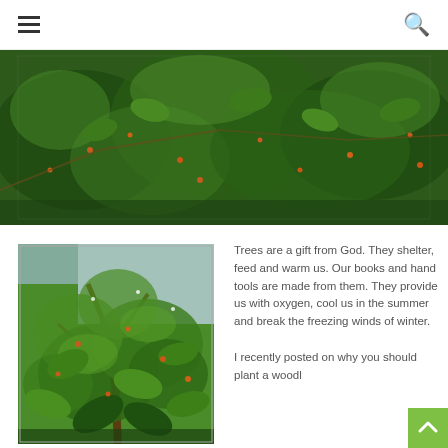☰ [menu icon] [search icon]
[Figure (photo): Wide banner photo of a tree with dense green leaves and small red/orange berries or fruits, viewed close up]
[Figure (photo): Photo of a tree with broad green leaves and small berries/fruits, photographed against a light sky]
Trees are a gift from God. They shelter, feed and warm us. Our books and hand tools are made from them. They provide us with oxygen, cool us in the summer and break the freezing winds of winter.
I recently posted on why you should plant a woodl